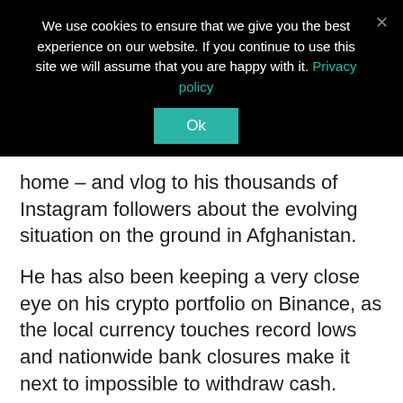We use cookies to ensure that we give you the best experience on our website. If you continue to use this site we will assume that you are happy with it. Privacy policy
Ok
home – and vlog to his thousands of Instagram followers about the evolving situation on the ground in Afghanistan.
He has also been keeping a very close eye on his crypto portfolio on Binance, as the local currency touches record lows and nationwide bank closures make it next to impossible to withdraw cash.
“In Afghanistan, we don’t have platforms like PayPal, Venmo, or Zelle, so I have to depend on other things,” said Hotak.